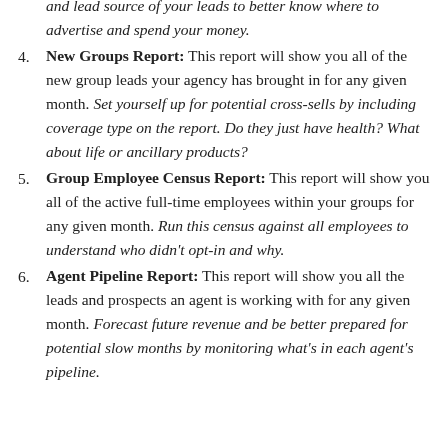[partial/continued item] ...month. Filter this report by running the demographics and lead source of your leads to better know where to advertise and spend your money.
4. New Groups Report: This report will show you all of the new group leads your agency has brought in for any given month. Set yourself up for potential cross-sells by including coverage type on the report. Do they just have health? What about life or ancillary products?
5. Group Employee Census Report: This report will show you all of the active full-time employees within your groups for any given month. Run this census against all employees to understand who didn't opt-in and why.
6. Agent Pipeline Report: This report will show you all the leads and prospects an agent is working with for any given month. Forecast future revenue and be better prepared for potential slow months by monitoring what's in each agent's pipeline.